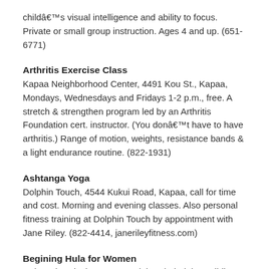childâ€™s visual intelligence and ability to focus. Private or small group instruction. Ages 4 and up. (651-6771)
Arthritis Exercise Class
Kapaa Neighborhood Center, 4491 Kou St., Kapaa, Mondays, Wednesdays and Fridays 1-2 p.m., free. A stretch & strengthen program led by an Arthritis Foundation cert. instructor. (You donâ€™t have to have arthritis.) Range of motion, weights, resistance bands & a light endurance routine. (822-1931)
Ashtanga Yoga
Dolphin Touch, 4544 Kukui Road, Kapaa, call for time and cost. Morning and evening classes. Also personal fitness training at Dolphin Touch by appointment with Jane Riley. (822-4414, janerileyfitness.com)
Begining Hula for Women
Hale Halawai Ohana O Hanalei, Pahei Aloha Building